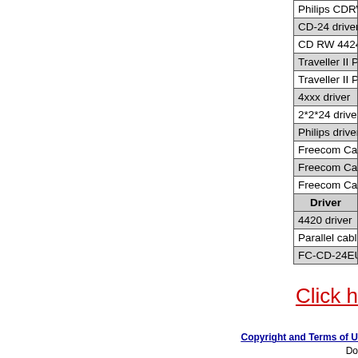| Driver |
| --- |
| Philips CDRW464 driver |
| CD-24 driver |
| CD RW 4424 driver |
| Traveller II Parallel Port driver |
| Traveller II Parallel driver |
| 4xxx driver |
| 2*2*24 driver |
| Philips driver |
| Freecom Cable USB driver |
| Freecom Cable PCMCIA driver |
| Freecom Cable CardBus driver |
| Driver |
| 4420 driver |
| Parallel cable version driver |
| FC-CD-24EU driver |
Click h
Copyright and Terms of U
Do